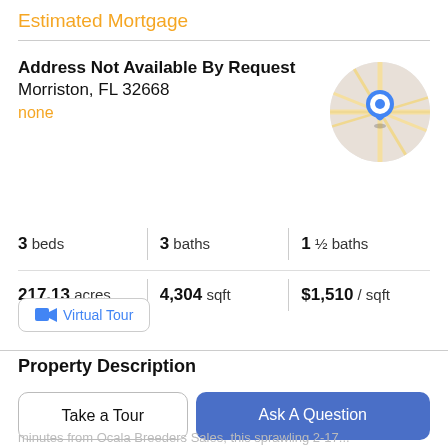Estimated Mortgage
Address Not Available By Request
Morriston, FL 32668
none
[Figure (map): Circular map thumbnail showing a location pin over a road map in Morriston, FL area]
3 beds | 3 baths | 1 ½ baths
217.13 acres | 4,304 sqft | $1,510 / sqft
Virtual Tour
Property Description
Desirable Location in the Horse Capital of the world! This exquisite income producing Equine estate is located only
minutes from Ocala Breeders Sales, this sprawling 2-17...